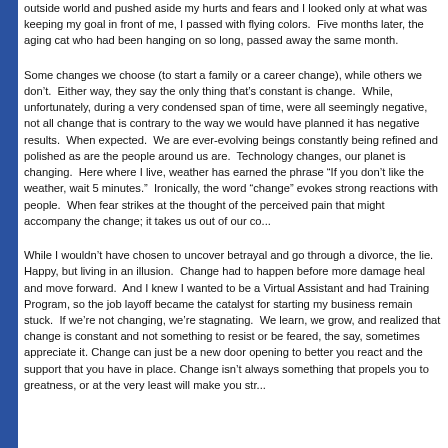outside world and pushed aside my hurts and fears and I looked only at what was keeping my goal in front of me, I passed with flying colors.  Five months later, the aging cat who had been hanging on so long, passed away the same month.
Some changes we choose (to start a family or a career change), while others we don't.  Either way, they say the only thing that's constant is change.  While, unfortunately, during a very condensed span of time, were all seemingly negative, not all change that is contrary to the way we would have planned it has negative results.  When expected.  We are ever-evolving beings constantly being refined and polished as are the people around us are.  Technology changes, our planet is changing.  Here where I live, weather has earned the phrase “If you don’t like the weather, wait 5 minutes.”  Ironically, the word “change” evokes strong reactions with people.  When fear strikes at the thought of the perceived pain that might accompany the change; it takes us out of our co...
While I wouldn’t have chosen to uncover betrayal and go through a divorce, the lie.  Happy, but living in an illusion.  Change had to happen before more damage heal and move forward.  And I knew I wanted to be a Virtual Assistant and had Training Program, so the job layoff became the catalyst for starting my business remain stuck.  If we're not changing, we're stagnating.  We learn, we grow, and realized that change is constant and not something to resist or be feared, the say, sometimes appreciate it. Change can just be a new door opening to better you react and the support that you have in place. Change isn't always something that propels you to greatness, or at the very least will make you str...